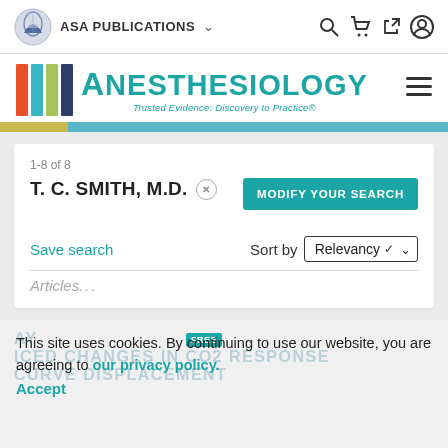ASA PUBLICATIONS
[Figure (logo): Anesthesiology journal logo with colored vertical bars and teal ANESTHESIOLOGY text. Subtitle: Trusted Evidence: Discovery to Practice®]
1-8 of 8
T. C. SMITH, M.D.
MODIFY YOUR SEARCH
Save search
Sort by Relevancy
Articles
This site uses cookies. By continuing to use our website, you are agreeing to our privacy policy. Accept